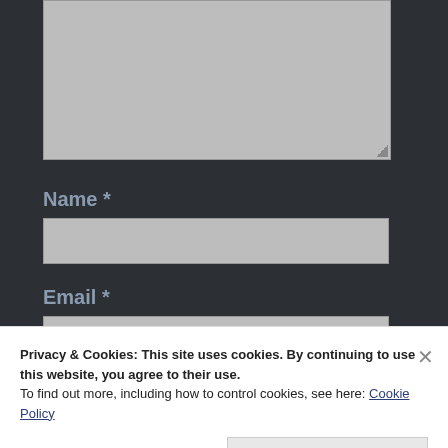[Figure (screenshot): A textarea form field with grey background and resize handle, partially visible at the top of the page]
Name *
[Figure (screenshot): An input field for Name with grey background]
Email *
[Figure (screenshot): An input field for Email with grey background, partially visible]
Privacy & Cookies: This site uses cookies. By continuing to use this website, you agree to their use.
To find out more, including how to control cookies, see here: Cookie Policy
Close and accept